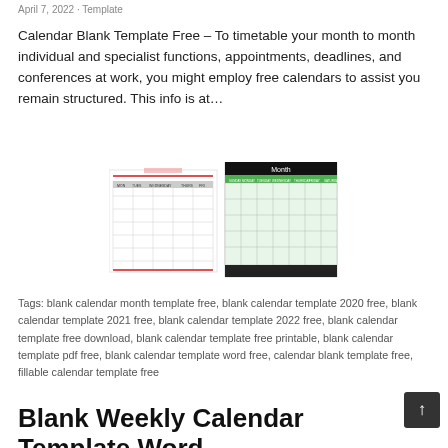April 7, 2022 · Template
Calendar Blank Template Free – To timetable your month to month individual and specialist functions, appointments, deadlines, and conferences at work, you might employ free calendars to assist you remain structured. This info is at…
[Figure (illustration): Two calendar template previews side by side: left is a weekly/monthly blank calendar with red header line and gray grid; right is a monthly calendar template with green header labeled 'Month', green column headers for days, light green cells, and a dark footer bar.]
Tags: blank calendar month template free, blank calendar template 2020 free, blank calendar template 2021 free, blank calendar template 2022 free, blank calendar template free download, blank calendar template free printable, blank calendar template pdf free, blank calendar template word free, calendar blank template free, fillable calendar template free
Blank Weekly Calendar Template Word